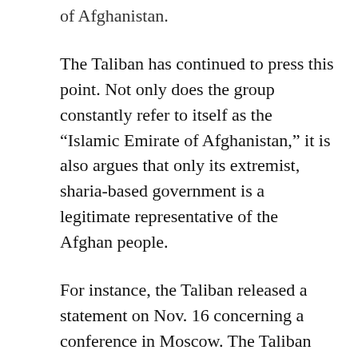of Afghanistan.
The Taliban has continued to press this point. Not only does the group constantly refer to itself as the “Islamic Emirate of Afghanistan,” it is also argues that only its extremist, sharia-based government is a legitimate representative of the Afghan people.
For instance, the Taliban released a statement on Nov. 16 concerning a conference in Moscow. The Taliban attended; the Afghan government did not. The statement was tellingly titled, “The Islamic Emirate’s Effective Diplomacy.” From the jihadists’ perspective, the Russian-hosted event was a good opportunity to expose “the crimes of the foreign invaders and Kabul administration and their corruption among other topics.” The Taliban added that in Moscow it “clarified the present situation of Afghanistan and exposed the policies, oppression and corruption of the savage